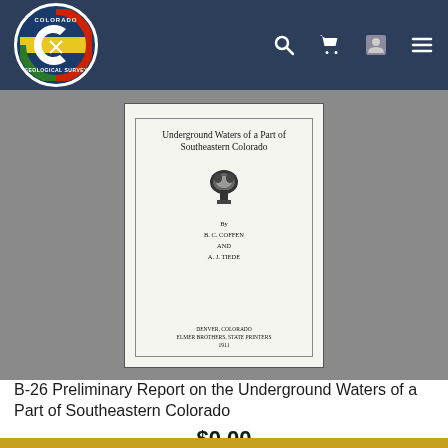[Figure (logo): Colorado Geological Survey circular logo with Colorado C emblem, mountains, and crossed tools]
[Figure (screenshot): Scanned title page of the publication showing title 'Underground Waters of a Part of Southeastern Colorado', an emblem, authors B.C. Coffen and A.J. Tiede, and publisher information]
B-26 Preliminary Report on the Underground Waters of a Part of Southeastern Colorado
$0.00